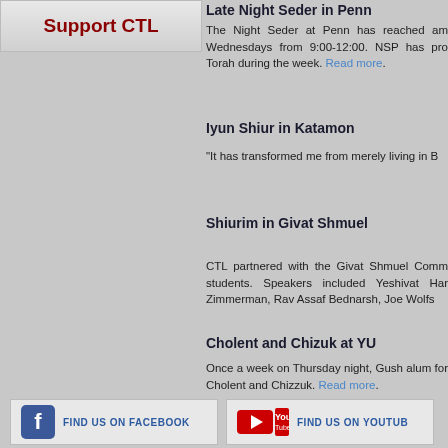Support CTL
Late Night Seder in Penn
The Night Seder at Penn has reached am Wednesdays from 9:00-12:00. NSP has pro Torah during the week. Read more.
Iyun Shiur in Katamon
"It has transformed me from merely living in B
Shiurim in Givat Shmuel
CTL partnered with the Givat Shmuel Comm students. Speakers included Yeshivat Har Zimmerman, Rav Assaf Bednarsh, Joe Wolfs
Cholent and Chizuk at YU
Once a week on Thursday night, Gush alum for Cholent and Chizzuk. Read more.
[Figure (logo): Find us on Facebook button with Facebook logo icon]
[Figure (logo): Find us on Youtube button with YouTube logo icon]